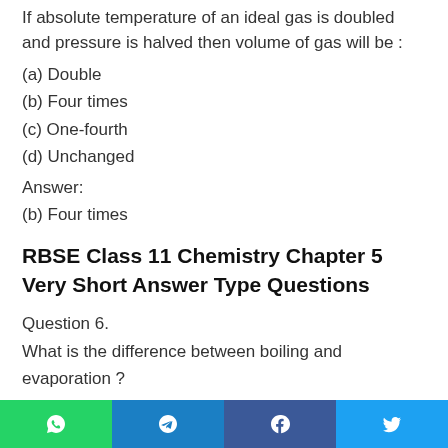If absolute temperature of an ideal gas is doubled and pressure is halved then volume of gas will be :
(a) Double
(b) Four times
(c) One-fourth
(d) Unchanged
Answer:
(b) Four times
RBSE Class 11 Chemistry Chapter 5 Very Short Answer Type Questions
Question 6.
What is the difference between boiling and evaporation ?
Answer:
Evaporation occurs at the surface of the liquid